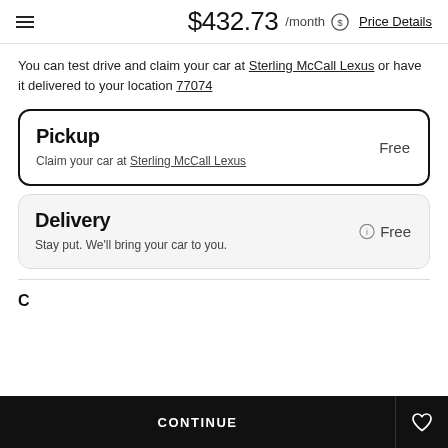$432.73 /month Price Details
You can test drive and claim your car at Sterling McCall Lexus or have it delivered to your location 77074
Pickup
Free
Claim your car at Sterling McCall Lexus
Delivery
Free
Stay put. We'll bring your car to you.
CONTINUE